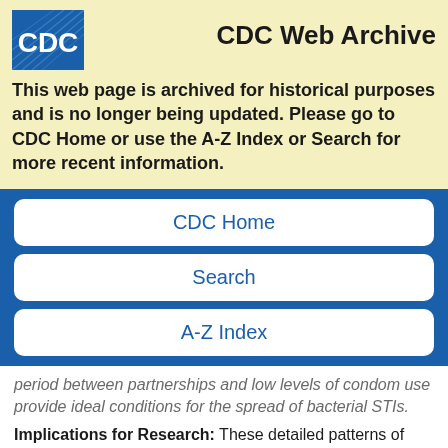[Figure (logo): CDC logo — blue square with white CDC text and diagonal lines]
CDC Web Archive
This web page is archived for historical purposes and is no longer being updated. Please go to CDC Home or use the A-Z Index or Search for more recent information.
CDC Home
Search
A-Z Index
period between partnerships and low levels of condom use provide ideal conditions for the spread of bacterial STIs.
Implications for Research: These detailed patterns of behavior provide a unique source for the derivation